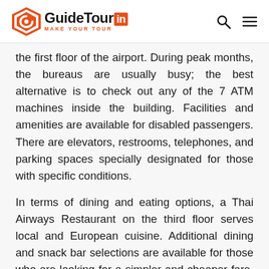GuideTour.IN — MAKE YOUR TOUR
the first floor of the airport. During peak months, the bureaus are usually busy; the best alternative is to check out any of the 7 ATM machines inside the building. Facilities and amenities are available for disabled passengers. There are elevators, restrooms, telephones, and parking spaces specially designated for those with specific conditions.
In terms of dining and eating options, a Thai Airways Restaurant on the third floor serves local and European cuisine. Additional dining and snack bar selections are available for those who are looking for a simpler and cheaper fare. For shopping options, a duty-free store is conveniently located just right after the immigration booth. There are more or less 10